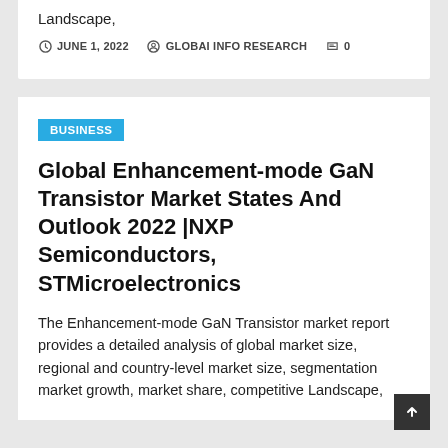Landscape,
JUNE 1, 2022  GLOBAI INFO RESEARCH  0
BUSINESS
Global Enhancement-mode GaN Transistor Market States And Outlook 2022 |NXP Semiconductors, STMicroelectronics
The Enhancement-mode GaN Transistor market report provides a detailed analysis of global market size, regional and country-level market size, segmentation market growth, market share, competitive Landscape,